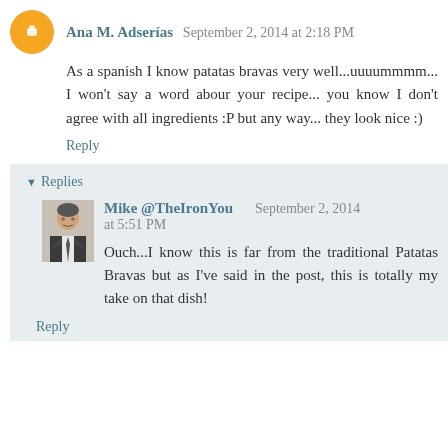Ana M. Adserías September 2, 2014 at 2:18 PM
As a spanish I know patatas bravas very well...uuuummmm... I won't say a word abour your recipe... you know I don't agree with all ingredients :P but any way... they look nice :)
Reply
▾ Replies
[Figure (photo): Profile photo of Mike @TheIronYou, a man in a suit]
Mike @TheIronYou September 2, 2014 at 5:51 PM
Ouch...I know this is far from the traditional Patatas Bravas but as I've said in the post, this is totally my take on that dish!
Reply